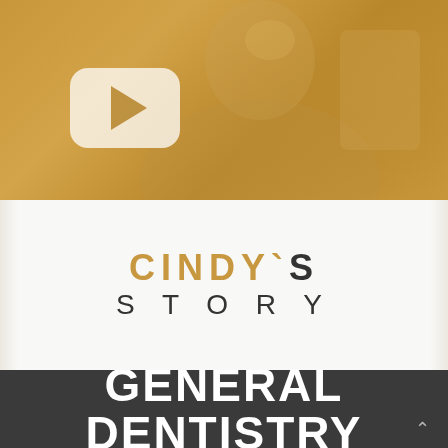[Figure (photo): Golden-toned photo of a smiling person with a video play button overlay in the upper left area]
CINDY'S STORY
GENERAL DENTISTRY